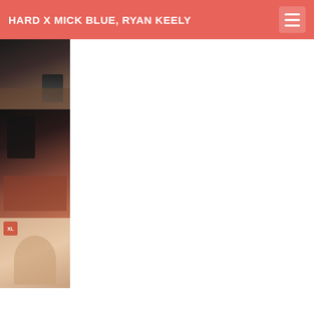HARD X MICK BLUE, RYAN KEELY
[Figure (photo): Three stacked photo thumbnails on the left side of the page below the header]